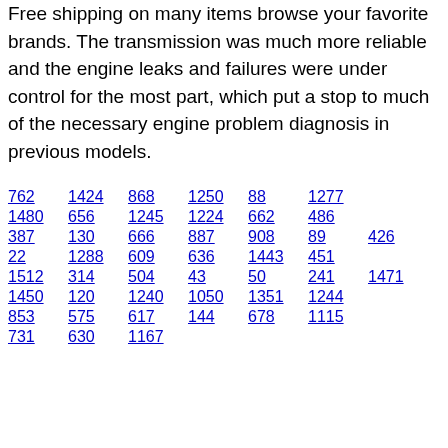Free shipping on many items browse your favorite brands. The transmission was much more reliable and the engine leaks and failures were under control for the most part, which put a stop to much of the necessary engine problem diagnosis in previous models.
762  1424  868  1250  88  1277
1480  656  1245  1224  662  486
387  130  666  887  908  89  426
22  1288  609  636  1443  451
1512  314  504  43  50  241  1471
1450  120  1240  1050  1351  1244
853  575  617  144  678  1115
731  630  1167